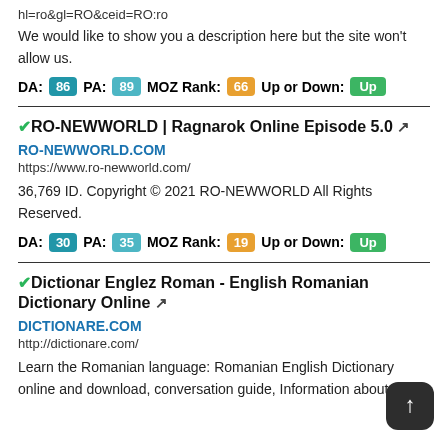hl=ro&gl=RO&ceid=RO:ro
We would like to show you a description here but the site won't allow us.
DA: 86 PA: 89 MOZ Rank: 66 Up or Down: Up
RO-NEWWORLD | Ragnarok Online Episode 5.0
RO-NEWWORLD.COM
https://www.ro-newworld.com/
36,769 ID. Copyright © 2021 RO-NEWWORLD All Rights Reserved.
DA: 30 PA: 35 MOZ Rank: 19 Up or Down: Up
Dictionar Englez Roman - English Romanian Dictionary Online
DICTIONARE.COM
http://dictionare.com/
Learn the Romanian language: Romanian English Dictionary online and download, conversation guide, Information about